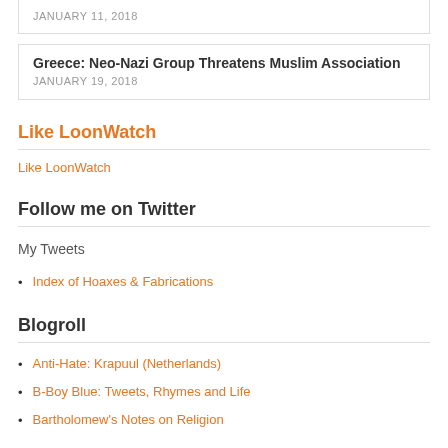JANUARY 11, 2018
Greece: Neo-Nazi Group Threatens Muslim Association
JANUARY 19, 2018
Like LoonWatch
Like LoonWatch
Follow me on Twitter
My Tweets
Index of Hoaxes & Fabrications
Blogroll
Anti-Hate: Krapuul (Netherlands)
B-Boy Blue: Tweets, Rhymes and Life
Bartholomew's Notes on Religion